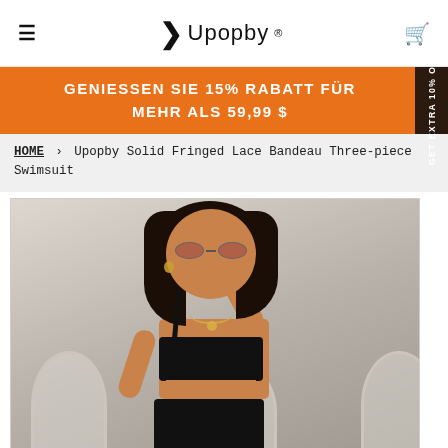≡  ‹ Upopby ®  🛒
GENIESSEN SIE 15% RABATT FÜR MEHR ALS 59,99 $
HOME › Upopby Solid Fringed Lace Bandeau Three-piece Swimsuit
[Figure (photo): A woman wearing a black one-shoulder bandeau top and black high-waisted bottom swimsuit, with curly dark hair, round sunglasses, and a gold necklace. She is posed in front of white arched architectural elements.]